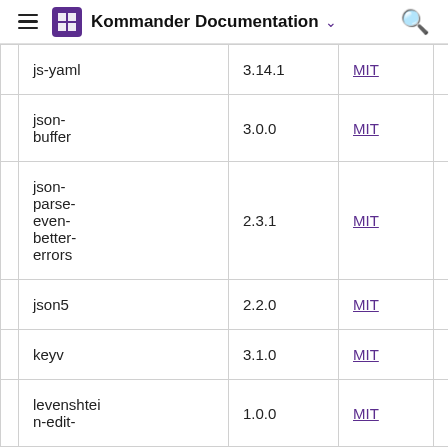Kommander Documentation
|  | Name | Version | License |  |
| --- | --- | --- | --- | --- |
|  | js-yaml | 3.14.1 | MIT |  |
|  | json-buffer | 3.0.0 | MIT |  |
|  | json-parse-even-better-errors | 2.3.1 | MIT |  |
|  | json5 | 2.2.0 | MIT |  |
|  | keyv | 3.1.0 | MIT |  |
|  | levenshtein-edit- | 1.0.0 | MIT |  |